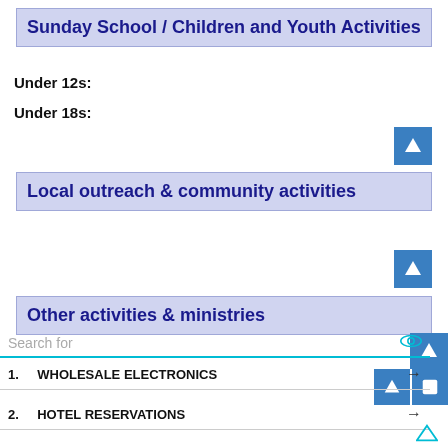Sunday School / Children and Youth Activities
Under 12s:
Under 18s:
Local outreach & community activities
Other activities & ministries
Search for
1. WHOLESALE ELECTRONICS
2. HOTEL RESERVATIONS